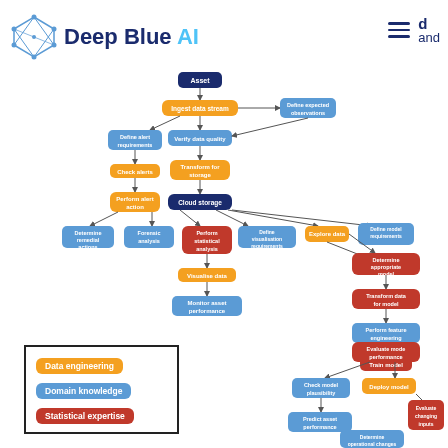Deep Blue AI
[Figure (flowchart): Flowchart showing data pipeline from Asset node through data engineering (orange), domain knowledge (blue), and statistical expertise (red) branches including: Ingest data stream, Define expected observations, Define alert requirements, Verify data quality, Check alerts, Transform for storage, Perform alert action, Cloud storage, Determine remedial actions, Forensic analysis, Perform statistical analysis, Define visualisation requirements, Explore data, Define model requirements, Visualise data, Monitor asset performance, Determine appropriate model, Transform data for model, Perform feature engineering, Train model, Evaluate mode performance, Check model plausibility, Deploy model, Predict asset performance, Evaluate changing inputs, Determine operational changes]
[Figure (infographic): Legend box showing three color-coded categories: Data engineering (orange), Domain knowledge (blue), Statistical expertise (red)]